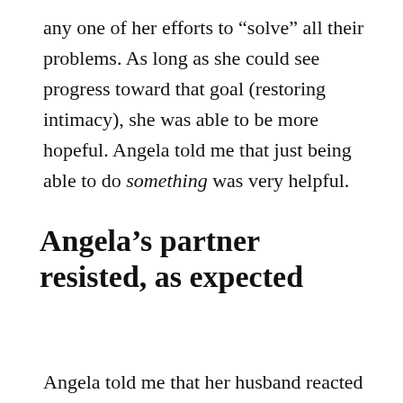any one of her efforts to “solve” all their problems. As long as she could see progress toward that goal (restoring intimacy), she was able to be more hopeful. Angela told me that just being able to do something was very helpful.
Angela’s partner resisted, as expected
Angela told me that her husband reacted